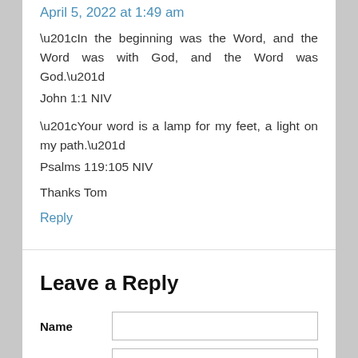April 5, 2022 at 1:49 am
“In the beginning was the Word, and the Word was with God, and the Word was God.”
John 1:1 NIV
“Your word is a lamp for my feet, a light on my path.”
Psalms 119:105 NIV
Thanks Tom
Reply
Leave a Reply
Name
Email